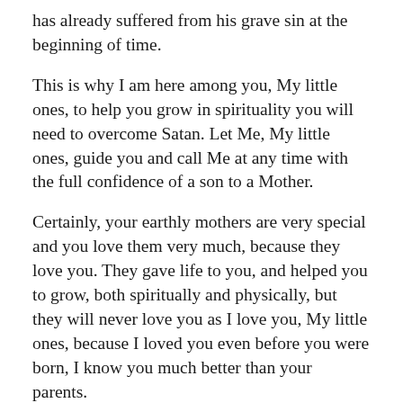has already suffered from his grave sin at the beginning of time.
This is why I am here among you, My little ones, to help you grow in spirituality you will need to overcome Satan. Let Me, My little ones, guide you and call Me at any time with the full confidence of a son to a Mother.
Certainly, your earthly mothers are very special and you love them very much, because they love you. They gave life to you, and helped you to grow, both spiritually and physically, but they will never love you as I love you, My little ones, because I loved you even before you were born, I know you much better than your parents.
As I have also told you, these are the times when My God, in His Most Holy Trinity, has given Me